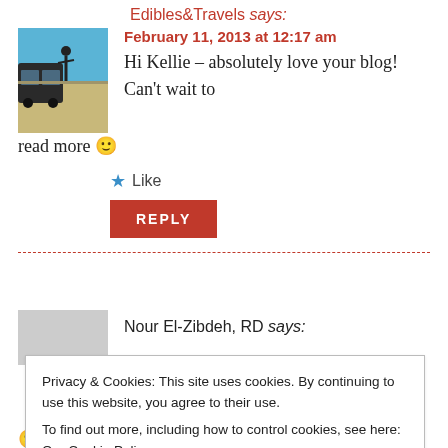Edibles&Travels says:
February 11, 2013 at 12:17 am
[Figure (photo): Person standing on a beach next to a vehicle, blue sky]
Hi Kellie – absolutely love your blog! Can't wait to read more 🙂
⭐ Like
REPLY
Nour El-Zibdeh, RD says:
Privacy & Cookies: This site uses cookies. By continuing to use this website, you agree to their use.
To find out more, including how to control cookies, see here: Our Cookie Policy
Close and accept
🙂 I don't make it from scratch though.